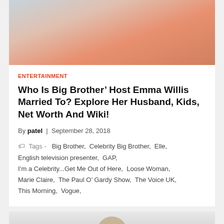[Figure (photo): Photo of Emma Willis, smiling woman in orange/peach top wearing hoop earrings, cropped to shoulders]
ENTERTAINMENT
Who Is Big Brother' Host Emma Willis Married To? Explore Her Husband, Kids, Net Worth And Wiki!
By patel | September 28, 2018
Tags - Big Brother, Celebrity Big Brother, Elle, English television presenter, GAP, I'm a Celebrity...Get Me Out of Here, Loose Woman, Marie Claire, The Paul O' Gardy Show, The Voice UK, This Morning, Vogue,
[Figure (photo): Partial photo at bottom of page, person's head/shoulders visible from below, appears to be another article thumbnail]